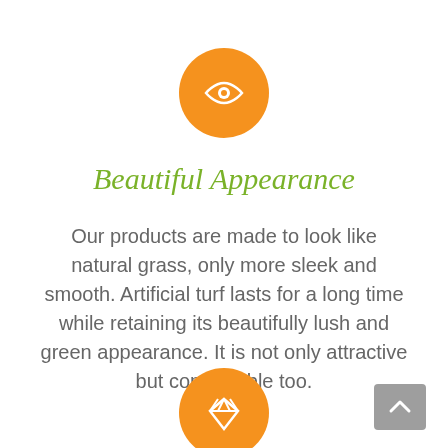[Figure (illustration): Orange circle with white eye icon]
Beautiful Appearance
Our products are made to look like natural grass, only more sleek and smooth. Artificial turf lasts for a long time while retaining its beautifully lush and green appearance. It is not only attractive but comfortable too.
[Figure (illustration): Orange circle with white diamond/gem icon (partially visible at bottom)]
[Figure (illustration): Grey scroll-to-top button with upward arrow at bottom right]